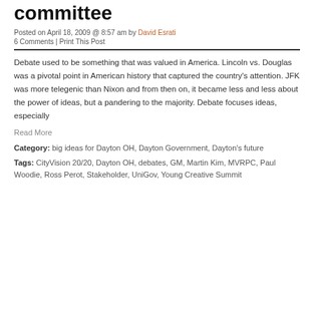committee
Posted on April 18, 2009 @ 8:57 am by David Esrati
6 Comments | Print This Post
Debate used to be something that was valued in America. Lincoln vs. Douglas was a pivotal point in American history that captured the country's attention. JFK was more telegenic than Nixon and from then on, it became less and less about the power of ideas, but a pandering to the majority. Debate focuses ideas, especially
Read More
Category: big ideas for Dayton OH, Dayton Government, Dayton's future
Tags: CityVision 20/20, Dayton OH, debates, GM, Martin Kim, MVRPC, Paul Woodie, Ross Perot, Stakeholder, UniGov, Young Creative Summit